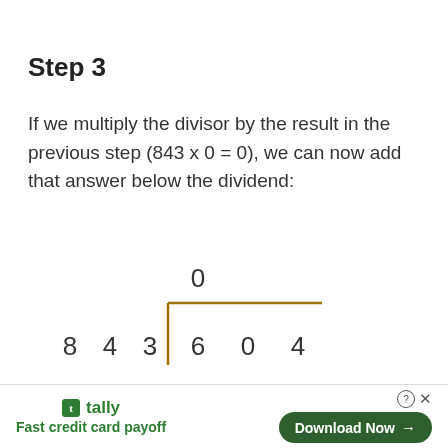Step 3
If we multiply the divisor by the result in the previous step (843 x 0 = 0), we can now add that answer below the dividend:
[Figure (math-figure): Long division diagram showing 843 dividing 604, with quotient 0 above and remainder 0 below. The divisor 8 4 3 is to the left of a bracket, and the dividend digits 6 0 4 appear inside the bracket. A 0 appears above the bracket line (quotient) and a 0 appears below the dividend (subtracted value).]
[Figure (other): Advertisement banner for Tally app: 'Fast credit card payoff' with a 'Download Now' button]